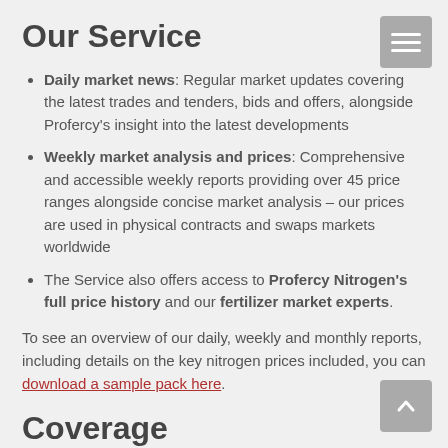Our Service
Daily market news: Regular market updates covering the latest trades and tenders, bids and offers, alongside Profercy's insight into the latest developments
Weekly market analysis and prices: Comprehensive and accessible weekly reports providing over 45 price ranges alongside concise market analysis – our prices are used in physical contracts and swaps markets worldwide
The Service also offers access to Profercy Nitrogen's full price history and our fertilizer market experts.
To see an overview of our daily, weekly and monthly reports, including details on the key nitrogen prices included, you can download a sample pack here.
Coverage